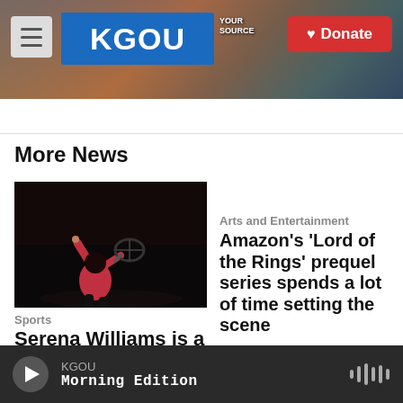KGOU | Donate
More News
[Figure (photo): Tennis player (Serena Williams) in dark clothing serving or celebrating on tennis court, dark background]
Sports
Serena Williams is a tennis great, and so much greater than that
Arts and Entertainment
Amazon's 'Lord of the Rings' prequel series spends a lot of time setting the scene
2 hours ago
KGOU Morning Edition